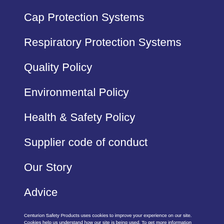Cap Protection Systems
Respiratory Protection Systems
Quality Policy
Environmental Policy
Health & Safety Policy
Supplier code of conduct
Our Story
Advice
Centurion Safety Products uses cookies to improve your experience on our site. Cookies help us understand how our site is being used. To get more information about these cookies and the processing of your personal data, check our Privacy & Cookie Policies here.
Careers
Accept cookies
Media Centre